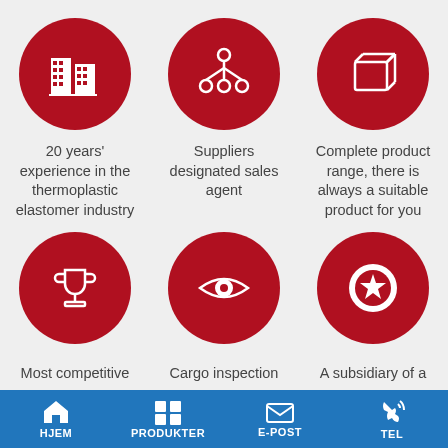[Figure (infographic): Six red circles with white icons arranged in a 3x2 grid. Top row: building icon, hierarchy/org chart icon, cube/box icon. Bottom row: trophy icon, eye icon, star/badge icon.]
20 years' experience in the thermoplastic elastomer industry
Suppliers designated sales agent
Complete product range, there is always a suitable product for you
Most competitive
Cargo inspection
A subsidiary of a
HJEM   PRODUKTER   E-POST   TEL